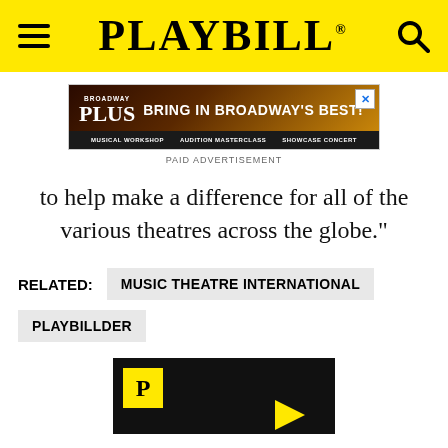PLAYBILL
[Figure (screenshot): Broadway Plus advertisement banner: 'BRING IN BROADWAY'S BEST!' with Musical Workshop, Audition Masterclass, Showcase Concert options]
PAID ADVERTISEMENT
to help make a difference for all of the various theatres across the globe."
RELATED: MUSIC THEATRE INTERNATIONAL
PLAYBILLDER
[Figure (screenshot): Playbill video thumbnail with yellow P logo on black background and play arrow]